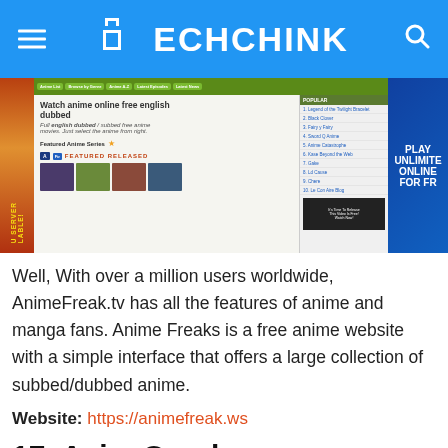TECHCHINK
[Figure (screenshot): Screenshot of AnimeFreak.tv website showing anime content, featured series, and navigation elements]
Well, With over a million users worldwide, AnimeFreak.tv has all the features of anime and manga fans. Anime Freaks is a free anime website with a simple interface that offers a large collection of subbed/dubbed anime.
Website: https://animefreak.ws
17. AsianCrush
[Figure (screenshot): Screenshot of AsianCrush website header/navigation bar with orange background showing logo, MOVIES, COLLECTIONS, BLOG, DEVICES navigation and LOG IN button]